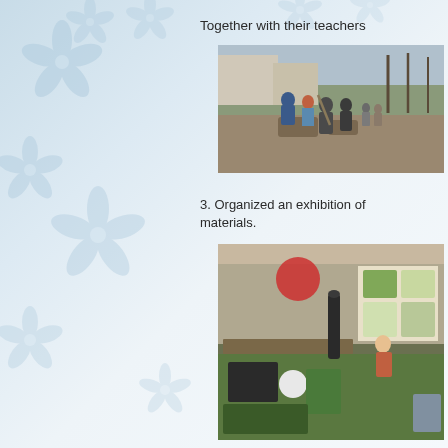Together with their teachers
[Figure (photo): Students and teachers planting trees outdoors on a street sidewalk]
3. Organized an exhibition of materials.
[Figure (photo): Exhibition display of student artwork and crafts made from recycled/natural materials on tables]